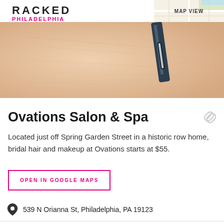RACKED PHILADELPHIA
[Figure (photo): Close-up photo of skin with tweezers or metal tool, likely eyebrow grooming. Peach/skin tone background with dark metal implement visible.]
Ovations Salon & Spa
Located just off Spring Garden Street in a historic row home, bridal hair and makeup at Ovations starts at $55.
OPEN IN GOOGLE MAPS
539 N Orianna St, Philadelphia, PA 19123